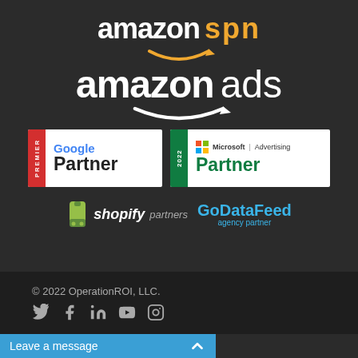[Figure (logo): Amazon SPN logo — white 'amazon' text with orange 'spn' and orange smile arrow beneath]
[Figure (logo): Amazon Ads logo — white 'amazon ads' text with white smile arrow beneath]
[Figure (logo): Google Premier Partner badge — red sidebar with 'PREMIER', Google Partner text]
[Figure (logo): Microsoft Advertising Partner 2022 badge — green sidebar with '2022', Microsoft Advertising Partner text]
[Figure (logo): Shopify Partners logo — green bag icon, bold italic shopify partners text]
[Figure (logo): GoDataFeed agency partner logo — blue text]
© 2022 OperationROI, LLC.
[Figure (illustration): Social media icons: Twitter, Facebook, LinkedIn, YouTube, Instagram]
Leave a message